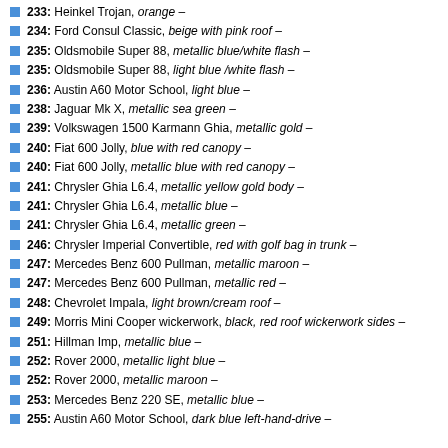233: Heinkel Trojan, orange –
234: Ford Consul Classic, beige with pink roof –
235: Oldsmobile Super 88, metallic blue/white flash –
235: Oldsmobile Super 88, light blue /white flash –
236: Austin A60 Motor School, light blue –
238: Jaguar Mk X, metallic sea green –
239: Volkswagen 1500 Karmann Ghia, metallic gold –
240: Fiat 600 Jolly, blue with red canopy –
240: Fiat 600 Jolly, metallic blue with red canopy –
241: Chrysler Ghia L6.4, metallic yellow gold body –
241: Chrysler Ghia L6.4, metallic blue –
241: Chrysler Ghia L6.4, metallic green –
246: Chrysler Imperial Convertible, red with golf bag in trunk –
247: Mercedes Benz 600 Pullman, metallic maroon –
247: Mercedes Benz 600 Pullman, metallic red –
248: Chevrolet Impala, light brown/cream roof –
249: Morris Mini Cooper wickerwork, black, red roof wickerwork sides –
251: Hillman Imp, metallic blue –
252: Rover 2000, metallic light blue –
252: Rover 2000, metallic maroon –
253: Mercedes Benz 220 SE, metallic blue –
255: Austin A60 Motor School, dark blue left-hand-drive –